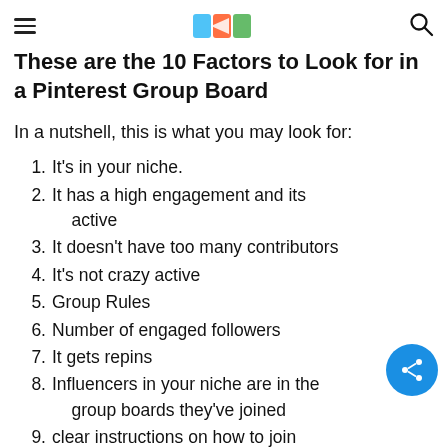These are the 10 Factors to Look for in a Pinterest Group Board
In a nutshell, this is what you may look for:
It's in your niche.
It has a high engagement and its active
It doesn't have too many contributors
It's not crazy active
Group Rules
Number of engaged followers
It gets repins
Influencers in your niche are in the group boards they've joined
clear instructions on how to join